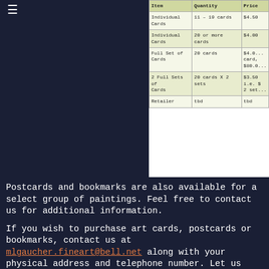|  |  |  |
| --- | --- | --- |
| Individual Cards | 11 – 19 cards | $4.50 |
| Individual Cards | 20 or more cards | $4.00 |
| Full Set of Cards | 20 cards | $4.0... card, $80.0... |
| 2 Full Sets of Cards | 20 cards X 2 sets | $3.50 i.e. $ 2 set... |
| Retailer | tbd | tbd |
Postcards and bookmarks are also available for a select group of paintings. Feel free to contact us for additional information.
If you wish to purchase art cards, postcards or bookmarks, contact us at mlgaucher.fineart@bell.net along with your physical address and telephone number. Let us know your